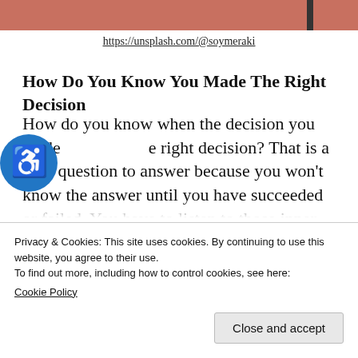[Figure (photo): Top portion of a photograph, showing warm reddish/salmon tones, partially visible at the top of the page.]
https://unsplash.com/@soymeraki
How Do You Know You Made The Right Decision
How do you know when the decision you made [was the] right decision? That is a hard question to answer because you won't know the answer until you have succeeded or failed. You have to listen to those inner voices. If your decision
Privacy & Cookies: This site uses cookies. By continuing to use this website, you agree to their use.
To find out more, including how to control cookies, see here:
Cookie Policy
Close and accept